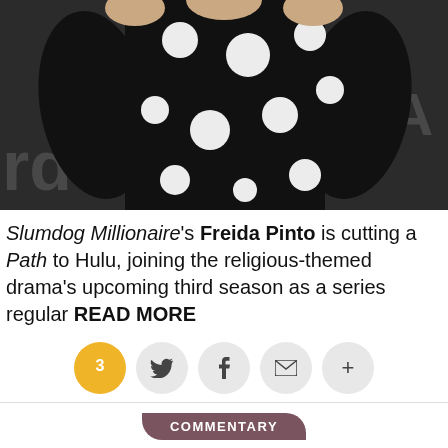[Figure (photo): Photo of a person wearing a black and white polka-dot dress, cropped from shoulders to mid-torso, against a dark background with partial text visible.]
Slumdog Millionaire's Freida Pinto is cutting a Path to Hulu, joining the religious-themed drama's upcoming third season as a series regular READ MORE
[Figure (infographic): Social sharing buttons: comment (3), Twitter, Facebook, Email, More (+)]
COMMENTARY
A-List TV Titans' Best & Worst: Every Jason Katims Series Ranked
By Team TVLine / April 28 2017, 7:04 AM PDT